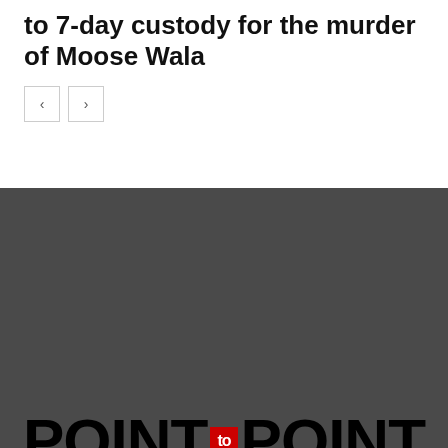to 7-day custody for the murder of Moose Wala
[Figure (other): Navigation buttons with left and right arrows]
[Figure (logo): Point to Point logo with large bold black text POINT to POINT, where 'to' appears in a red rectangle]
ABOUT US
Point to point is not just a mean of giving information, but our aim is also to play our social role, to try to meet the criteria of